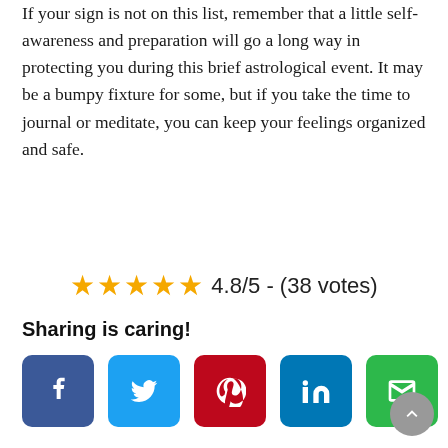If your sign is not on this list, remember that a little self-awareness and preparation will go a long way in protecting you during this brief astrological event. It may be a bumpy fixture for some, but if you take the time to journal or meditate, you can keep your feelings organized and safe.
4.8/5 - (38 votes)
Sharing is caring!
[Figure (other): Social sharing buttons: Facebook, Twitter, Pinterest, LinkedIn, Email]
[Figure (other): Scroll to top button]